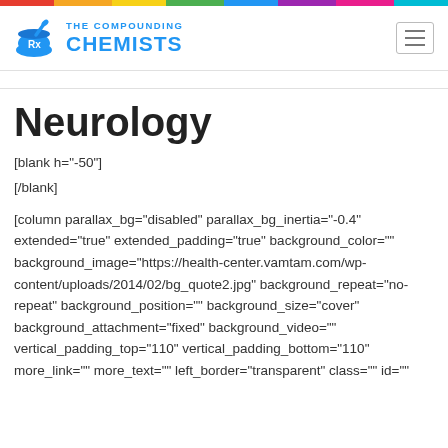[Figure (logo): The Compounding Chemists logo with mortar and pestle icon and blue text]
Neurology
[blank h="-50"]
[/blank]
[column parallax_bg="disabled" parallax_bg_inertia="-0.4" extended="true" extended_padding="true" background_color="" background_image="https://health-center.vamtam.com/wp-content/uploads/2014/02/bg_quote2.jpg" background_repeat="no-repeat" background_position="" background_size="cover" background_attachment="fixed" background_video="" vertical_padding_top="110" vertical_padding_bottom="110" more_link="" more_text="" left_border="transparent" class="" id=""